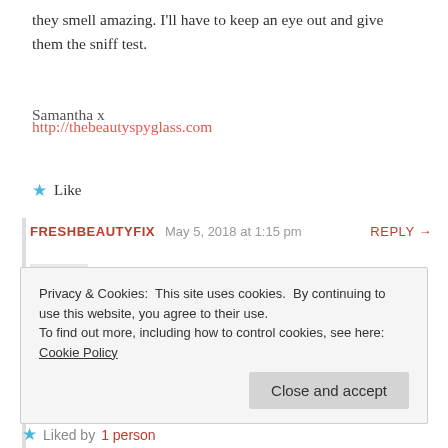they smell amazing. I'll have to keep an eye out and give them the sniff test.
Samantha x
http://thebeautyspyglass.com
Like
FRESHBEAUTYFIX   May 5, 2018 at 1:15 pm   REPLY →
Hi Samantha! Glad you enjoyed reading it. Justine definitely knows her fragrances,
Privacy & Cookies: This site uses cookies. By continuing to use this website, you agree to their use. To find out more, including how to control cookies, see here: Cookie Policy
Close and accept
Liked by 1 person